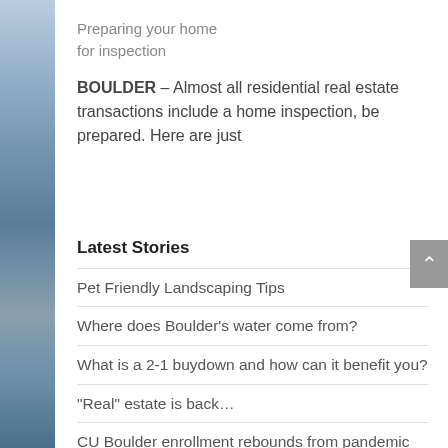Preparing your home for inspection
BOULDER – Almost all residential real estate transactions include a home inspection, be prepared. Here are just
Latest Stories
Pet Friendly Landscaping Tips
Where does Boulder's water come from?
What is a 2-1 buydown and how can it benefit you?
“Real” estate is back…
CU Boulder enrollment rebounds from pandemic declines, housing impact